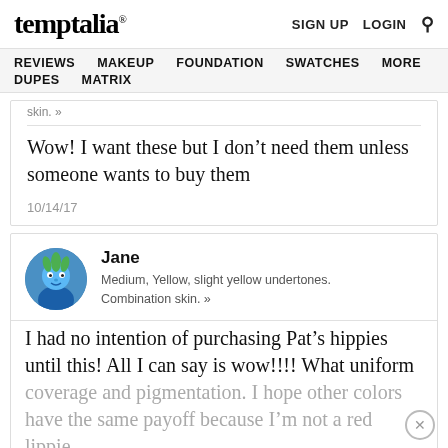temptalia® | SIGN UP  LOGIN  🔍
REVIEWS  MAKEUP  FOUNDATION  SWATCHES  MORE  DUPES  MATRIX
skin. »
Wow! I want these but I don't need them unless someone wants to buy them
10/14/17
Jane
Medium, Yellow, slight yellow undertones. Combination skin. »
I had no intention of purchasing Pat's hippies until this! All I can say is wow!!!! What uniform coverage and pigmentation. I hope other colors have the same payoff because I'm not a red lippie.